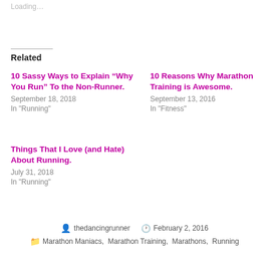Loading…
Related
10 Sassy Ways to Explain “Why You Run” To the Non-Runner.
September 18, 2018
In "Running"
10 Reasons Why Marathon Training is Awesome.
September 13, 2016
In "Fitness"
Things That I Love (and Hate) About Running.
July 31, 2018
In "Running"
thedancingrunner · February 2, 2016 · Marathon Maniacs, Marathon Training, Marathons, Running